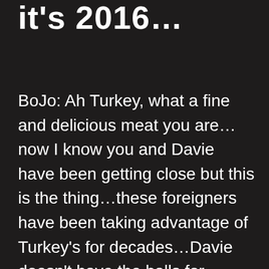it's 2016...
BoJo: Ah Turkey, what a fine and delicious meat you are…now I know you and Davie have been getting close but this is the thing…these foreigners have been taking advantage of Turkey's for decades…Davie doesn't have the balls for what's needed…it's time to raise the flag and go it alone…vote for Brexit and you'll be doing even better than before those bankers got a bit naughty back in 2008…